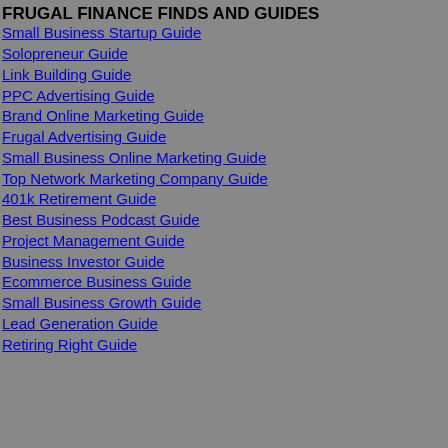FRUGAL FINANCE FINDS AND GUIDES
Small Business Startup Guide
Solopreneur Guide
Link Building Guide
PPC Advertising Guide
Brand Online Marketing Guide
Frugal Advertising Guide
Small Business Online Marketing Guide
Top Network Marketing Company Guide
401k Retirement Guide
Best Business Podcast Guide
Project Management Guide
Business Investor Guide
Ecommerce Business Guide
Small Business Growth Guide
Lead Generation Guide
Retiring Right Guide